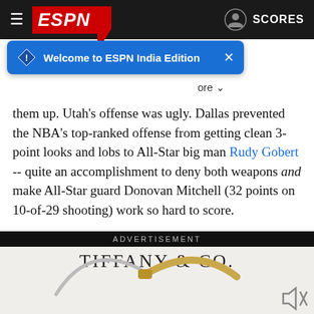ESPN - Welcome to ESPN India Edition
them up. Utah's offense was ugly. Dallas prevented the NBA's top-ranked offense from getting clean 3-point looks and lobs to All-Star big man Rudy Gobert -- quite an accomplishment to deny both weapons and make All-Star guard Donovan Mitchell (32 points on 10-of-29 shooting) work so hard to score.
[Figure (screenshot): Tiffany & Co. advertisement showing a two-tone bracelet (silver and gold) with the brand name TIFFANY & CO. displayed above it on a light grey background.]